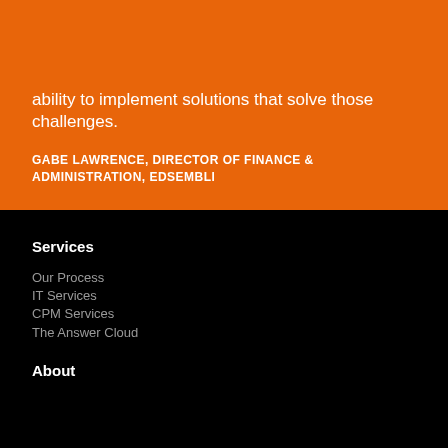ability to implement solutions that solve those challenges.
GABE LAWRENCE, DIRECTOR OF FINANCE & ADMINISTRATION, EDSEMBLI
Services
Our Process
IT Services
CPM Services
The Answer Cloud
About